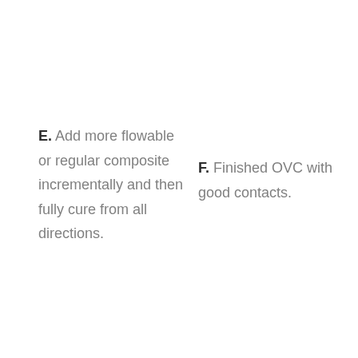E. Add more flowable or regular composite incrementally and then fully cure from all directions.
F. Finished OVC with good contacts.